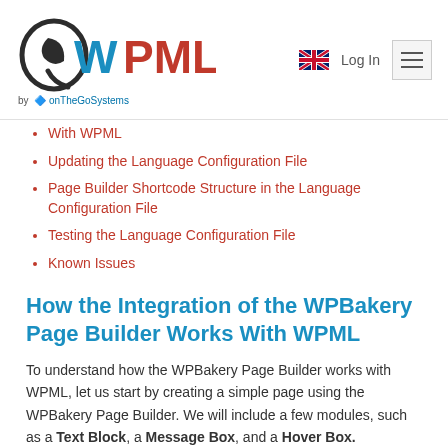[Figure (logo): WPML logo with circular Q icon and 'WPML' text, 'by onTheGoSystems' subtitle]
With WPML (partially visible)
Updating the Language Configuration File
Page Builder Shortcode Structure in the Language Configuration File
Testing the Language Configuration File
Known Issues
How the Integration of the WPBakery Page Builder Works With WPML
To understand how the WPBakery Page Builder works with WPML, let us start by creating a simple page using the WPBakery Page Builder. We will include a few modules, such as a Text Block, a Message Box, and a Hover Box.
[Figure (screenshot): Partial screenshot of WPBakery Page Builder interface at bottom of page]